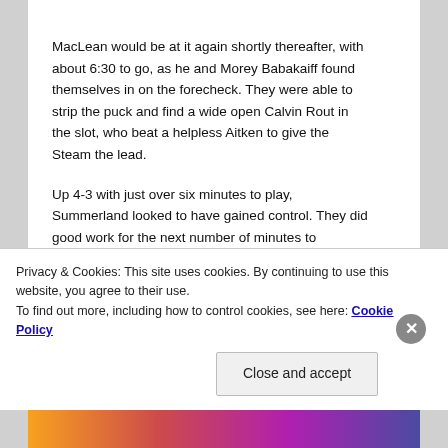MacLean would be at it again shortly thereafter, with about 6:30 to go, as he and Morey Babakaiff found themselves in on the forecheck. They were able to strip the puck and find a wide open Calvin Rout in the slot, who beat a helpless Aitken to give the Steam the lead.
Up 4-3 with just over six minutes to play, Summerland looked to have gained control. They did good work for the next number of minutes to distance themselves and roll...
Privacy & Cookies: This site uses cookies. By continuing to use this website, you agree to their use.
To find out more, including how to control cookies, see here: Cookie Policy
Close and accept